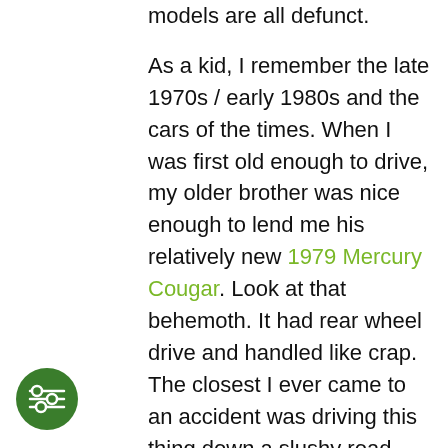models are all defunct.

As a kid, I remember the late 1970s / early 1980s and the cars of the times. When I was first old enough to drive, my older brother was nice enough to lend me his relatively new 1979 Mercury Cougar. Look at that behemoth. It had rear wheel drive and handled like crap. The closest I ever came to an accident was driving this thing down a slushy road when I wandered out of the track. Think of going down a waterslide trying to stop by digging in your fingernails. The next year the thing was downsized by 50%. The gas mileage probably doubled. BTW, I don't know why they put that woman on there. The car should have...
[Figure (logo): Dark green circular icon with a filter/settings symbol (sliders with circles)]